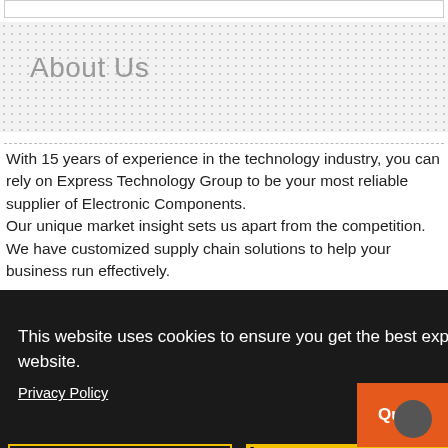About Us
With 15 years of experience in the technology industry, you can rely on Express Technology Group to be your most reliable supplier of Electronic Components. Our unique market insight sets us apart from the competition. We have customized supply chain solutions to help your business run effectively.
This website uses cookies to ensure you get the best experience on our website.
Privacy Policy
Preferences
Accept
Close
Quote
Toll Free